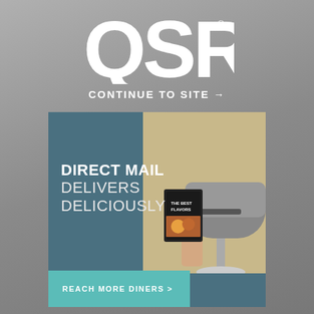[Figure (logo): QSR magazine logo in bold white letters with registered trademark symbol]
CONTINUE TO SITE →
[Figure (infographic): Advertisement banner for direct mail services. Blue-gray background with text 'DIRECT MAIL DELIVERS DELICIOUSLY' and a photo of a hand placing a food menu into a mailbox. Teal call-to-action bar at bottom reading 'REACH MORE DINERS >']